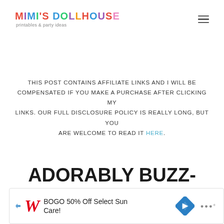[Figure (logo): Mimi's Dollhouse logo with colorful text and tagline 'printables & party ideas']
THIS POST CONTAINS AFFILIATE LINKS AND I WILL BE COMPENSATED IF YOU MAKE A PURCHASE AFTER CLICKING MY LINKS. OUR FULL DISCLOSURE POLICY IS REALLY LONG, BUT YOU ARE WELCOME TO READ IT HERE.
ADORABLY BUZZ-WORTHY BEE PARTY
[Figure (other): Advertisement banner - Walgreens BOGO 50% Off Select Sun Care ad]